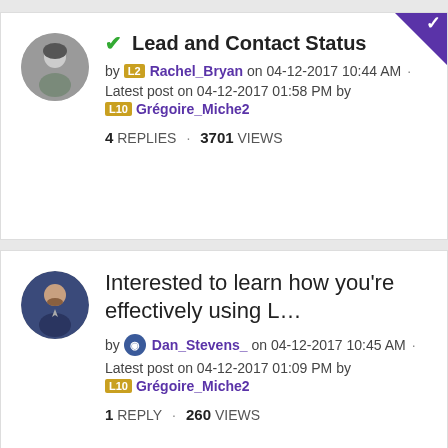Lead and Contact Status by Rachel_Bryan on 04-12-2017 10:44 AM · Latest post on 04-12-2017 01:58 PM by Grégoire_Miche2 · 4 REPLIES · 3701 VIEWS
Interested to learn how you're effectively using L... by Dan_Stevens_ on 04-12-2017 10:45 AM · Latest post on 04-12-2017 01:09 PM by Grégoire_Miche2 · 1 REPLY · 260 VIEWS